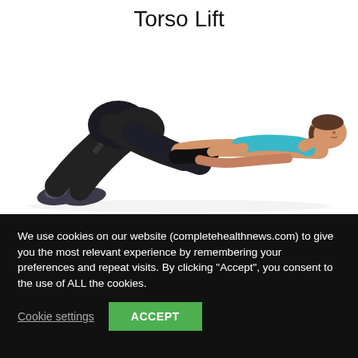Torso Lift
[Figure (photo): Woman lying on her back with knees bent, feet flat on the floor, wearing black leggings and a teal sports bra, performing a torso lift exercise on a white background.]
We use cookies on our website (completehealthnews.com) to give you the most relevant experience by remembering your preferences and repeat visits. By clicking “Accept”, you consent to the use of ALL the cookies.
Cookie settings
ACCEPT